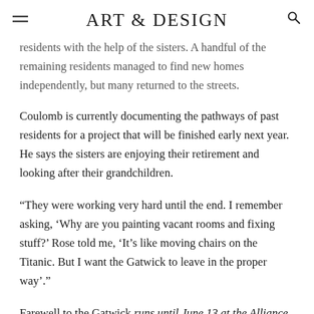ART & DESIGN
residents with the help of the sisters. A handful of the remaining residents managed to find new homes independently, but many returned to the streets.
Coulomb is currently documenting the pathways of past residents for a project that will be finished early next year. He says the sisters are enjoying their retirement and looking after their grandchildren.
“They were working very hard until the end. I remember asking, ‘Why are you painting vacant rooms and fixing stuff?’ Rose told me, ‘It’s like moving chairs on the Titanic. But I want the Gatwick to leave in the proper way’.”
Farewell to the Gatwick runs until June 13 at the Alliance Française, 51 Grey St, St Kilda.